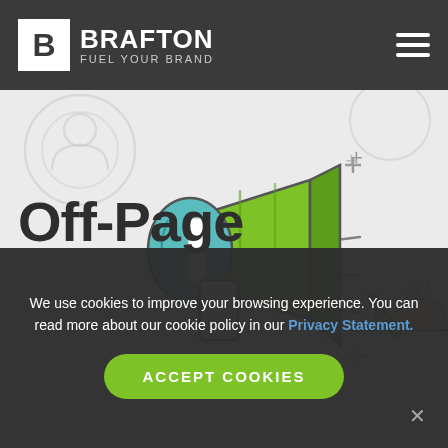[Figure (logo): Brafton logo with white B in box and text BRAFTON / FUEL YOUR BRAND on dark background navigation bar]
[Figure (illustration): Illustration on light grey background showing a megaphone/bullhorn in green and teal colors on the left, and a hand writing with a pencil on the right, with decorative plus signs and dash lines scattered around]
Off-Page
We use cookies to improve your browsing experience. You can read more about our cookie policy in our Privacy Statement.
ACCEPT COOKIES